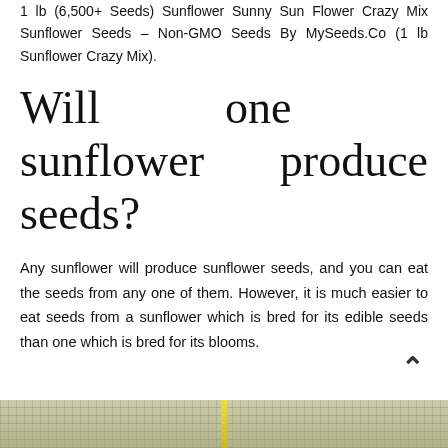1 lb (6,500+ Seeds) Sunflower Sunny Sun Flower Crazy Mix Sunflower Seeds – Non-GMO Seeds By MySeeds.Co (1 lb Sunflower Crazy Mix).
Will one sunflower produce seeds?
Any sunflower will produce sunflower seeds, and you can eat the seeds from any one of them. However, it is much easier to eat seeds from a sunflower which is bred for its edible seeds than one which is bred for its blooms.
[Figure (photo): Partial view of a sunflower field, cropped at bottom of page]